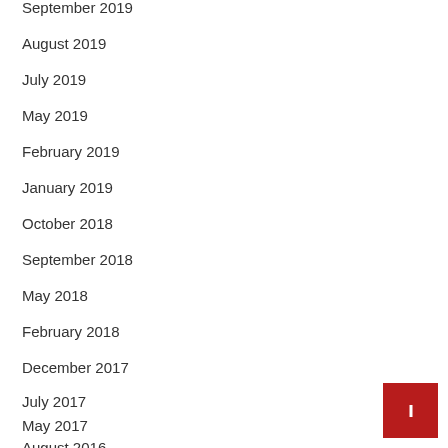September 2019
August 2019
July 2019
May 2019
February 2019
January 2019
October 2018
September 2018
May 2018
February 2018
December 2017
July 2017
May 2017
August 2016